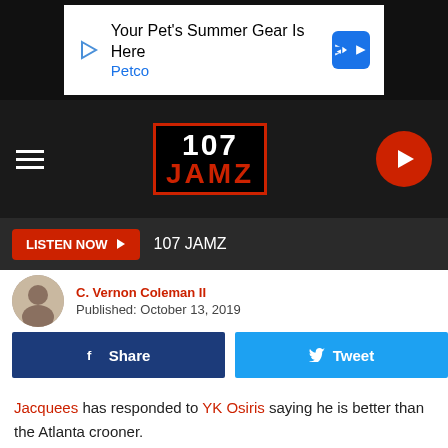[Figure (screenshot): Advertisement banner: Your Pet's Summer Gear Is Here - Petco]
[Figure (logo): 107 JAMZ radio station logo with red border]
LISTEN NOW ▶   107 JAMZ
C. Vernon Coleman II
Published: October 13, 2019
Share
Tweet
Jacquees has responded to YK Osiris saying he is better than the Atlanta crooner.
On Sunday (Oct. 13), 'Quees posted and deleted a video on Instagram where he goes at the 2019 XXL Freshman.
"Aye, m... "King of R&B... door